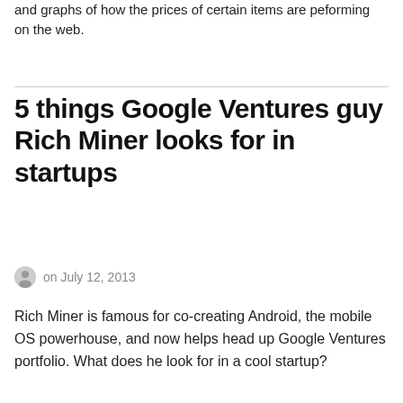and graphs of how the prices of certain items are peforming on the web.
5 things Google Ventures guy Rich Miner looks for in startups
on July 12, 2013
Rich Miner is famous for co-creating Android, the mobile OS powerhouse, and now helps head up Google Ventures portfolio. What does he look for in a cool startup?